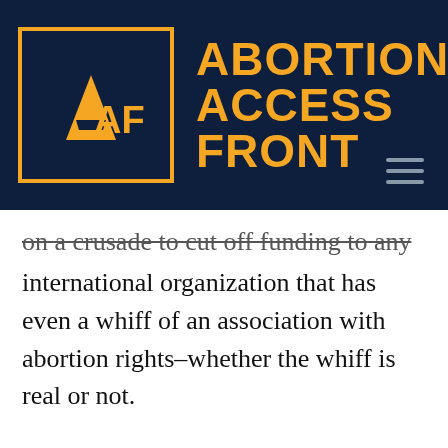[Figure (logo): Abortion Access Front logo: dark navy background with orange 'AAF' letters inside an orange-bordered square, next to bold orange text reading 'ABORTION ACCESS FRONT']
on a crusade to cut off funding to any international organization that has even a whiff of an association with abortion rights–whether the whiff is real or not.
The latest victim is the United Nations Population Fund, which has absolutely no connection with abortion services…  unless you